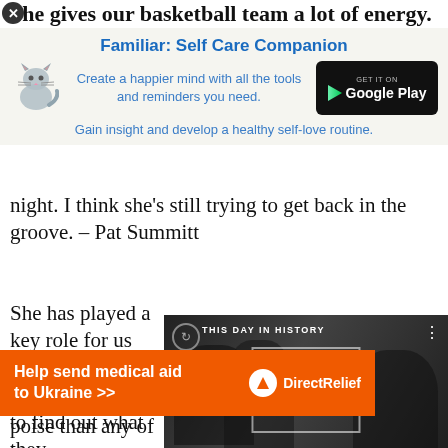She gives our basketball team a lot of energy.
[Figure (infographic): App advertisement banner for 'Familiar: Self Care Companion' with a cat illustration and Google Play download button. Text: Create a happier mind with all the tools and reminders you need. Gain insight and develop a healthy self-love routine.]
night. I think she's still trying to get back in the groove. – Pat Summitt
She has played a key role for us this season. Now, it's time for [them] to find out what they're made of.
She has more poise than any of us, an
[Figure (screenshot): Video player overlay showing 'This Day in History' with date August 10, play button, mute icon, progress bar, and fullscreen icon.]
[Figure (infographic): Orange Direct Relief advertisement banner: 'Help send medical aid to Ukraine >>' with Direct Relief logo.]